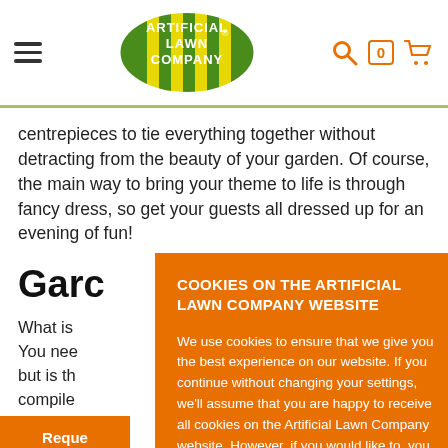Artificial Lawn Company — navigation header
centrepieces to tie everything together without detracting from the beauty of your garden. Of course, the main way to bring your theme to life is through fancy dress, so get your guests all dressed up for an evening of fun!
Garc
What is... You nee... but is th... compile... parties a... skittles...
COOKIES ON THE ARTIFICIAL LAWN COMPANY WEBSITE

We use cookies to ensure that we give you the best experience on our website. If you continue without changing your settings, we'll assume that you are happy to receive all cookies on the Artificial Lawn Company website. However, if you would like to, you can change your cookie settings at any time.

CONTINUE | READ MORE